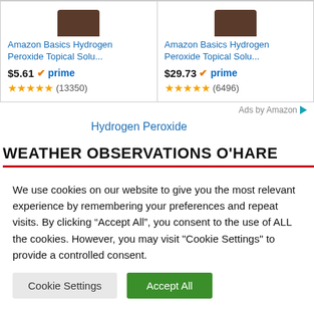[Figure (screenshot): Two Amazon product cards showing Amazon Basics Hydrogen Peroxide Topical Solution products with prices, Prime badges, and star ratings]
Ads by Amazon
Hydrogen Peroxide
WEATHER OBSERVATIONS O'HARE
We use cookies on our website to give you the most relevant experience by remembering your preferences and repeat visits. By clicking “Accept All”, you consent to the use of ALL the cookies. However, you may visit "Cookie Settings" to provide a controlled consent.